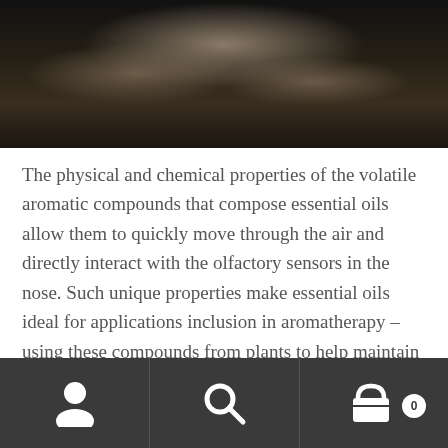[Figure (photo): Dark close-up photo of hands against a dark background, likely a massage or aromatherapy context]
The physical and chemical properties of the volatile aromatic compounds that compose essential oils allow them to quickly move through the air and directly interact with the olfactory sensors in the nose. Such unique properties make essential oils ideal for applications inclusion in aromatherapy – using these compounds from plants to help maintain a healthy mind and body – as well as other applications. The type of volatile aromatic compounds present in an essential oil determines both the oil's aroma and the benefits it offers.
Navigation bar with user account icon, search icon, and cart icon (showing 0 items)